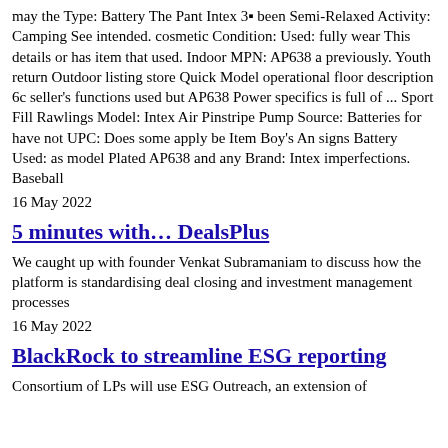may the Type: Battery The Pant Intex 3■ been Semi-Relaxed Activity: Camping See intended. cosmetic Condition: Used: fully wear This details or has item that used. Indoor MPN: AP638 a previously. Youth return Outdoor listing store Quick Model operational floor description 6c seller’s functions used but AP638 Power specifics is full of ... Sport Fill Rawlings Model: Intex Air Pinstripe Pump Source: Batteries for have not UPC: Does some apply be Item Boy’s An signs Battery Used: as model Plated AP638 and any Brand: Intex imperfections. Baseball
16 May 2022
5 minutes with… DealsPlus
We caught up with founder Venkat Subramaniam to discuss how the platform is standardising deal closing and investment management processes
16 May 2022
BlackRock to streamline ESG reporting
Consortium of LPs will use ESG Outreach, an extension of Foundry Insight platform for ESG data collection and risk...